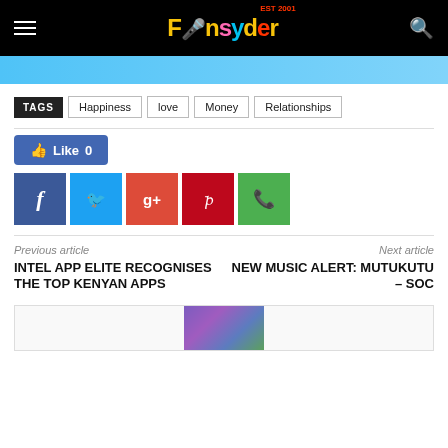FInsyder - EST 2001
[Figure (screenshot): Banner image strip at top of page, colorful content preview]
TAGS  Happiness  love  Money  Relationships
[Figure (infographic): Social sharing section with Like button (Like 0) and social media share buttons: Facebook, Twitter, Google+, Pinterest, WhatsApp]
Previous article
Next article
INTEL APP ELITE RECOGNISES THE TOP KENYAN APPS
NEW MUSIC ALERT: MUTUKUTU – SOC
[Figure (screenshot): Preview card at bottom with thumbnail image]